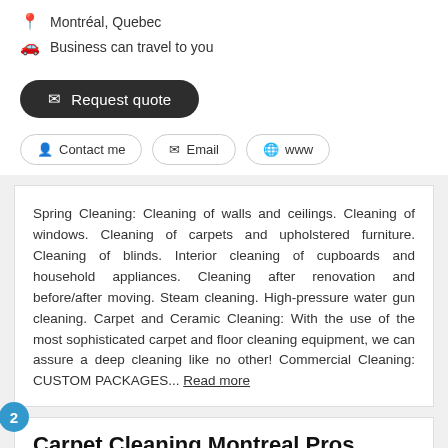Montréal, Quebec
Business can travel to you
✉ Request quote
👤 Contact me
✉ Email
🌐 www
Spring Cleaning: Cleaning of walls and ceilings. Cleaning of windows. Cleaning of carpets and upholstered furniture. Cleaning of blinds. Interior cleaning of cupboards and household appliances. Cleaning after renovation and before/after moving. Steam cleaning. High-pressure water gun cleaning. Carpet and Ceramic Cleaning: With the use of the most sophisticated carpet and floor cleaning equipment, we can assure a deep cleaning like no other! Commercial Cleaning: CUSTOM PACKAGES... Read more
Carpet Cleaning Montreal Pros
Carpets and Flooring > Carpet Cleaning